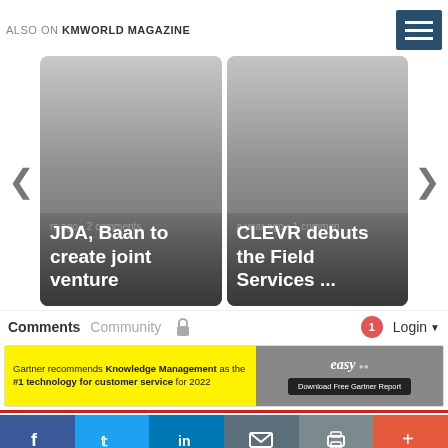ALSO ON KMWORLD MAGAZINE
[Figure (screenshot): Carousel with two article cards: 'JDA, Baan to create joint venture' and 'CLEVR debuts the Field Services ...' with left and right navigation arrows]
Comments  Community  Login
[Figure (infographic): Advertisement banner: Gartner recommends Knowledge Management as the #1 technology for customer service for 2022. Download Free Gartner Report. Easy brand logo.]
[Figure (infographic): Social media share bar with Facebook, Twitter, LinkedIn, Email, Print, and More buttons]